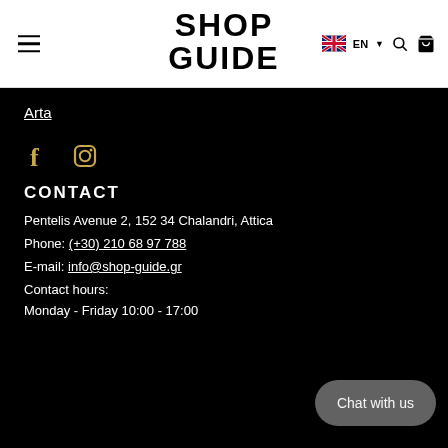ShopGuide — EN language selector, search, bag icons
Arta
[Figure (logo): Facebook and Instagram social media icons]
CONTACT
Pentelis Avenue 2, 152 34 Chalandri, Attica
Phone: (+30) 210 68 97 788
E-mail: info@shop-guide.gr
Contact hours:
Monday - Friday 10:00 - 17:00